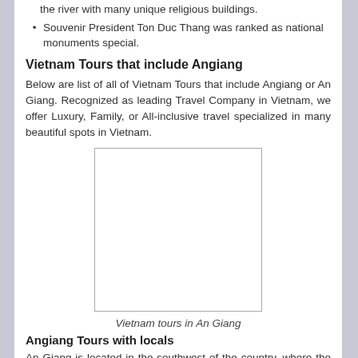the river with many unique religious buildings.
Souvenir President Ton Duc Thang was ranked as national monuments special.
Vietnam Tours that include Angiang
Below are list of all of Vietnam Tours that include Angiang or An Giang. Recognized as leading Travel Company in Vietnam, we offer Luxury, Family, or All-inclusive travel specialized in many beautiful spots in Vietnam.
[Figure (photo): Empty white rectangle with border representing Vietnam tours in An Giang image placeholder]
Vietnam tours in An Giang
Angiang Tours with locals
An Giang is located in the southwest of the country, where the Mekong River, the Tien and Hau rivers pass